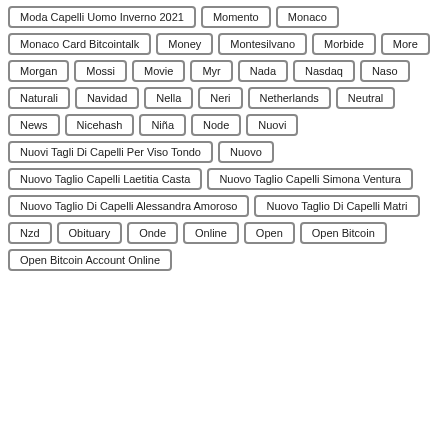Moda Capelli Uomo Inverno 2021
Momento
Monaco
Monaco Card Bitcointalk
Money
Montesilvano
Morbide
More
Morgan
Mossi
Movie
Myr
Nada
Nasdaq
Naso
Naturali
Navidad
Nella
Neri
Netherlands
Neutral
News
Nicehash
Niña
Node
Nuovi
Nuovi Tagli Di Capelli Per Viso Tondo
Nuovo
Nuovo Taglio Capelli Laetitia Casta
Nuovo Taglio Capelli Simona Ventura
Nuovo Taglio Di Capelli Alessandra Amoroso
Nuovo Taglio Di Capelli Matri
Nzd
Obituary
Onde
Online
Open
Open Bitcoin
Open Bitcoin Account Online